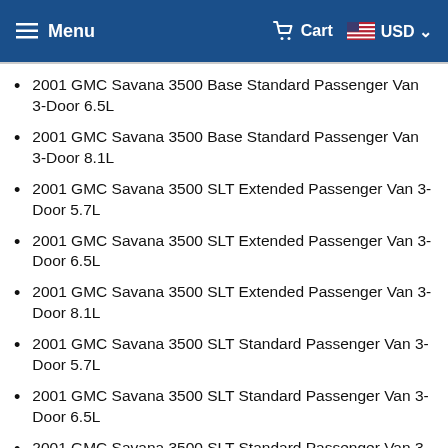Menu  Cart  USD
2001 GMC Savana 3500 Base Standard Passenger Van 3-Door 6.5L
2001 GMC Savana 3500 Base Standard Passenger Van 3-Door 8.1L
2001 GMC Savana 3500 SLT Extended Passenger Van 3-Door 5.7L
2001 GMC Savana 3500 SLT Extended Passenger Van 3-Door 6.5L
2001 GMC Savana 3500 SLT Extended Passenger Van 3-Door 8.1L
2001 GMC Savana 3500 SLT Standard Passenger Van 3-Door 5.7L
2001 GMC Savana 3500 SLT Standard Passenger Van 3-Door 6.5L
2001 GMC Savana 3500 SLT Standard Passenger Van 3-Door 8.1L